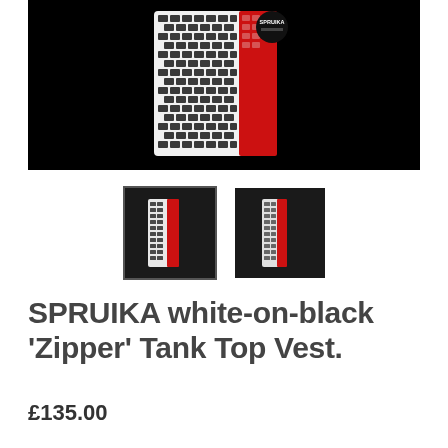[Figure (photo): Product photo of SPRUIKA white-on-black Zipper Tank Top Vest on black background. The vest has a geometric black and white puzzle/chain pattern with a red vertical stripe section, and a circular SPRUIKA logo badge.]
[Figure (photo): Thumbnail 1 (selected, with border): small image of the SPRUIKA vest front view showing white/black pattern with red stripe.]
[Figure (photo): Thumbnail 2: small image of the SPRUIKA vest alternate view.]
SPRUIKA white-on-black 'Zipper' Tank Top Vest.
£135.00